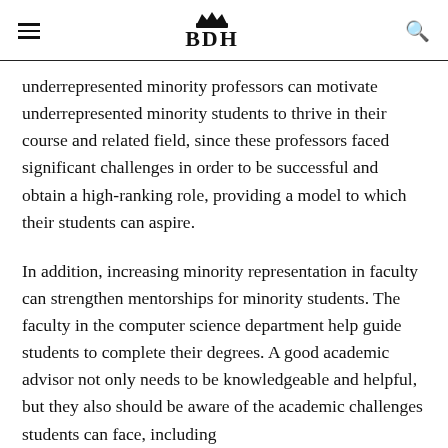BDH
underrepresented minority professors can motivate underrepresented minority students to thrive in their course and related field, since these professors faced significant challenges in order to be successful and obtain a high-ranking role, providing a model to which their students can aspire.
In addition, increasing minority representation in faculty can strengthen mentorships for minority students. The faculty in the computer science department help guide students to complete their degrees. A good academic advisor not only needs to be knowledgeable and helpful, but they also should be aware of the academic challenges students can face, including